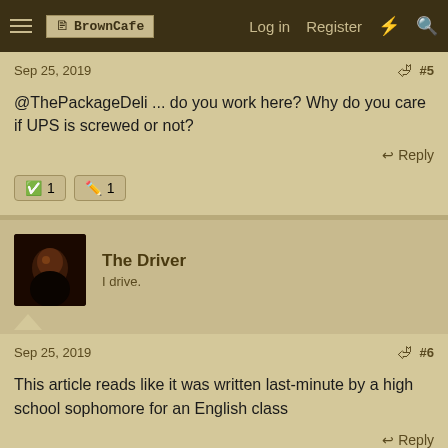BrownCafe  Log in  Register
Sep 25, 2019  #5
@ThePackageDeli ... do you work here? Why do you care if UPS is screwed or not?
Reply
✓ 1  ✏ 1
The Driver
I drive.
Sep 25, 2019  #6
This article reads like it was written last-minute by a high school sophomore for an English class
Reply